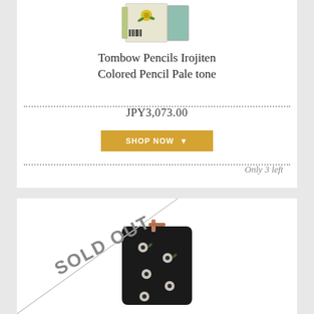[Figure (photo): Product photo of Tombow Pencils Irojiten Colored Pencil Pale tone box]
Tombow Pencils Irojiten Colored Pencil Pale tone
JPY3,073.00
SHOP NOW
Only 3 left
[Figure (photo): Black floral zip pouch/pencil case with flower pattern, SOLD OUT overlay]